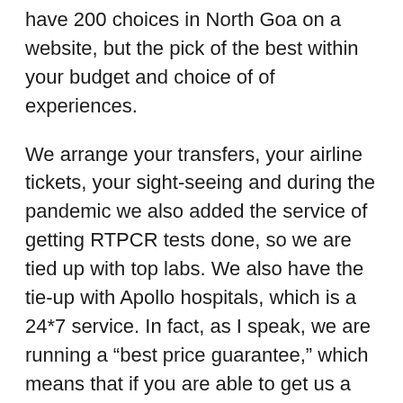have 200 choices in North Goa on a website, but the pick of the best within your budget and choice of of experiences.
We arrange your transfers, your airline tickets, your sight-seeing and during the pandemic we also added the service of getting RTPCR tests done, so we are tied up with top labs. We also have the tie-up with Apollo hospitals, which is a 24*7 service. In fact, as I speak, we are running a “best price guarantee,” which means that if you are able to get us a better package than what we are offering, we will give you back double the price, double the benefit, which is a strong statement to make in the market.
Q: You are focusing on adventure travel and wildlife, how come?
Pant: This is the perfect time to start your adventure travels. Dividing it into multiple segments, one being wildlife